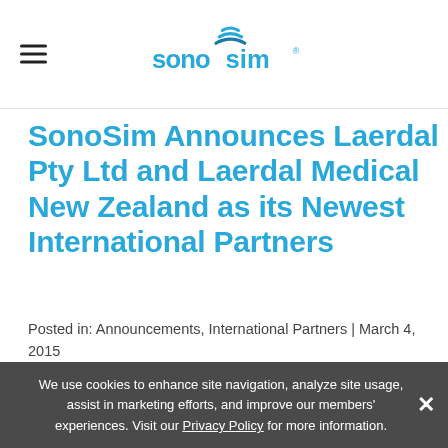SonoSim logo and navigation
SonoSim Announces Laerdal Pty Ltd and Laerdal Medical New Zealand as its Newest International Partners
Posted in: Announcements, International Partners | March 4, 2015
Share Tweet Email Share
[Figure (logo): Laerdal logo and SonoSim Inc. text]
We use cookies to enhance site navigation, analyze site usage, assist in marketing efforts, and improve our members' experiences. Visit our Privacy Policy for more information.